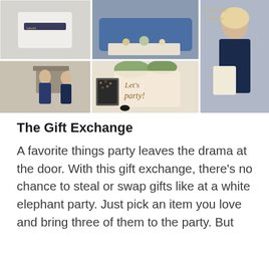[Figure (photo): Collage of six party photos: top-left shows a white bin with chalkboard labels, top-center shows a blue couch with food spread on a table, top-right shows a smiling blonde woman in navy dress holding a tote bag, middle-left shows two women in a living room by a fireplace, middle-center shows a 'Let's Party' calligraphy sign with greenery and a leopard frame, bottom-right continues the woman with tote bag photo.]
The Gift Exchange
A favorite things party leaves the drama at the door. With this gift exchange, there's no chance to steal or swap gifts like at a white elephant party. Just pick an item you love and bring three of them to the party. But